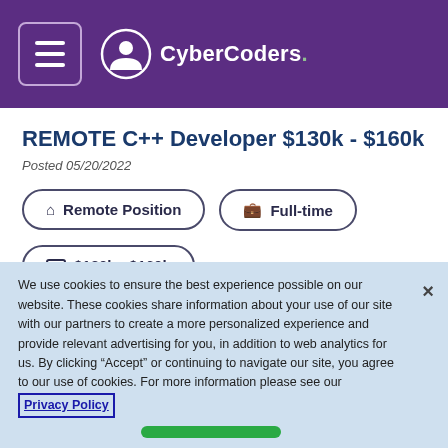CyberCoders.
REMOTE C++ Developer $130k - $160k
Posted 05/20/2022
Remote Position
Full-time
$130k - $160k
Apply Now
We use cookies to ensure the best experience possible on our website. These cookies share information about your use of our site with our partners to create a more personalized experience and provide relevant advertising for you, in addition to web analytics for us. By clicking "Accept" or continuing to navigate our site, you agree to our use of cookies. For more information please see our Privacy Policy